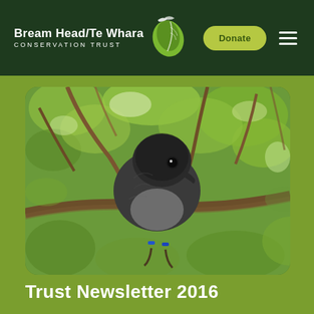Bream Head/Te Whara CONSERVATION TRUST
[Figure (photo): Close-up photograph of a small dark grey bird (robin or similar native NZ species) perched on a branch among green leaves, viewed from below. The bird has a round fluffy body, small beak, and coloured leg bands visible.]
Trust Newsletter 2016